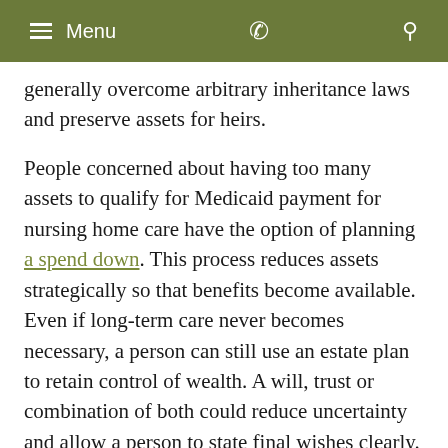Menu
generally overcome arbitrary inheritance laws and preserve assets for heirs.
People concerned about having too many assets to qualify for Medicaid payment for nursing home care have the option of planning a spend down. This process reduces assets strategically so that benefits become available. Even if long-term care never becomes necessary, a person can still use an estate plan to retain control of wealth. A will, trust or combination of both could reduce uncertainty and allow a person to state final wishes clearly. This effort could insulate an estate from disputes among surviving family members.